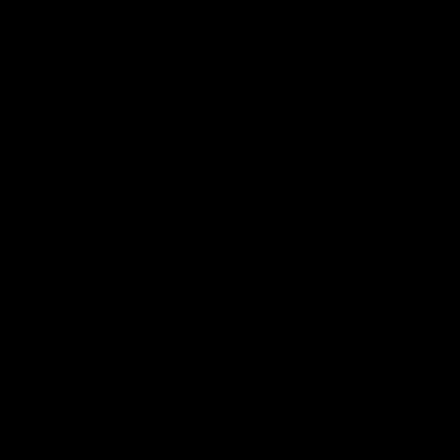[Figure (photo): Entirely black image with no visible content or text.]